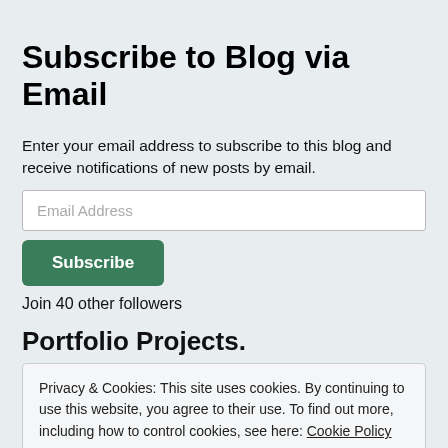Subscribe to Blog via Email
Enter your email address to subscribe to this blog and receive notifications of new posts by email.
Email Address
Subscribe
Join 40 other followers
Portfolio Projects.
Privacy & Cookies: This site uses cookies. By continuing to use this website, you agree to their use. To find out more, including how to control cookies, see here: Cookie Policy
Close and accept
Minister, Poet, Hebrew Negro Historian,